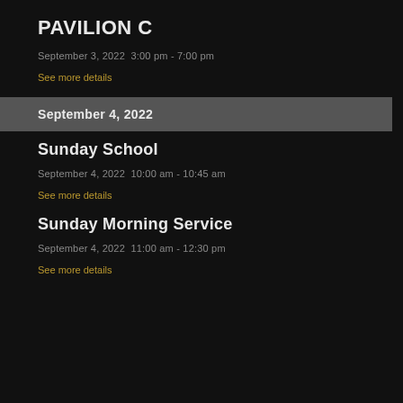PAVILION C
September 3, 2022  3:00 pm - 7:00 pm
See more details
September 4, 2022
Sunday School
September 4, 2022  10:00 am - 10:45 am
See more details
Sunday Morning Service
September 4, 2022  11:00 am - 12:30 pm
See more details